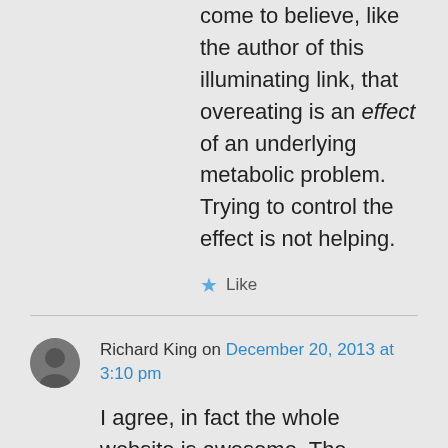come to believe, like the author of this illuminating link, that overeating is an effect of an underlying metabolic problem. Trying to control the effect is not helping.
★ Like
Richard King on December 20, 2013 at 3:10 pm
I agree, in fact the whole website is awesome. The author, Dr Peter Attia is completely obsessed by nutritional and lipid science (his series on cholesterol is a complete eye-opener, and will bring you way beyond the average physician in